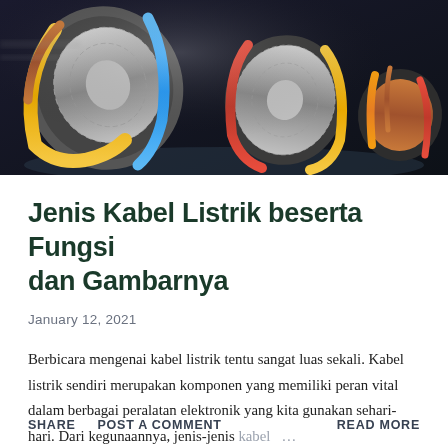[Figure (photo): Close-up photo of multiple electrical cables cut cross-sectionally, showing internal copper strands, colored insulation layers (yellow, blue, red, orange), and metallic armor on a dark background.]
Jenis Kabel Listrik beserta Fungsi dan Gambarnya
January 12, 2021
Berbicara mengenai kabel listrik tentu sangat luas sekali. Kabel listrik sendiri merupakan komponen yang memiliki peran vital dalam berbagai peralatan elektronik yang kita gunakan sehari-hari. Dari kegunaannya, jenis-jenis kabel …
SHARE  POST A COMMENT  READ MORE